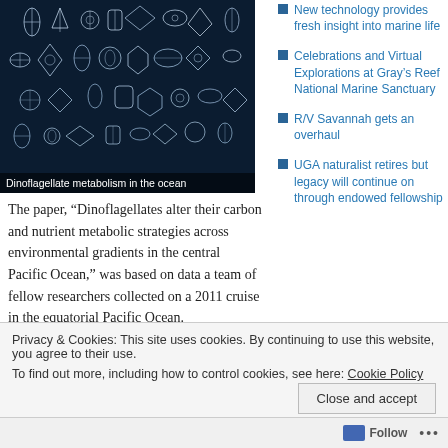[Figure (photo): Microscopic illustration of dinoflagellates — white line-art style organisms on a dark blue background. Various geometric and biological shapes representing different dinoflagellate species.]
Dinoflagellate metabolism in the ocean
The paper, “Dinoflagellates alter their carbon and nutrient metabolic strategies across environmental gradients in the central Pacific Ocean,” was based on data a team of fellow researchers collected on a 2011 cruise in the equatorial Pacific Ocean.
Dinoflagellates are tiny plankton, many…
New technology provides fresh insight into marine life
Celebrations and Virtual Explorations at Gray’s Reef National Marine Sanctuary
R/V Savannah gets an overhaul
UGA naturalist retires but legacy will continue on through endowed fellowship
Privacy & Cookies: This site uses cookies. By continuing to use this website, you agree to their use.
To find out more, including how to control cookies, see here: Cookie Policy
Close and accept
Follow